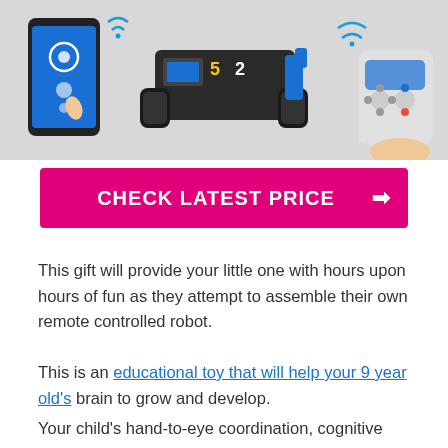[Figure (photo): Photo showing a remote controlled robot/tank toy with treads, alongside a smartphone app control and a physical remote controller, with WiFi signal icons]
CHECK LATEST PRICE →
This gift will provide your little one with hours upon hours of fun as they attempt to assemble their own remote controlled robot.
This is an educational toy that will help your 9 year old's brain to grow and develop.
Your child's hand-to-eye coordination, cognitive flexibility, problem-solving capacities, and creative